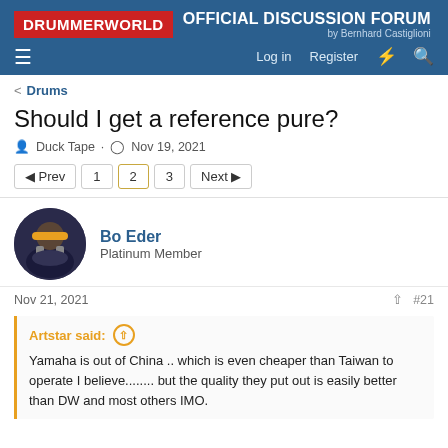DRUMMERWORLD OFFICIAL DISCUSSION FORUM by Bernhard Castiglioni
< Drums
Should I get a reference pure?
Duck Tape · Nov 19, 2021
Prev 1 2 3 Next
Bo Eder
Platinum Member
Nov 21, 2021  #21
Artstar said:
Yamaha is out of China .. which is even cheaper than Taiwan to operate I believe........ but the quality they put out is easily better than DW and most others IMO.